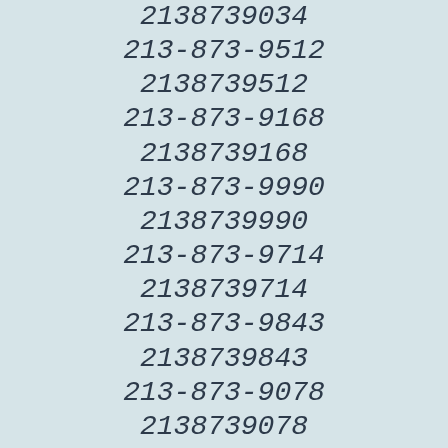2138739034
213-873-9512
2138739512
213-873-9168
2138739168
213-873-9990
2138739990
213-873-9714
2138739714
213-873-9843
2138739843
213-873-9078
2138739078
213-873-9077
2138739077